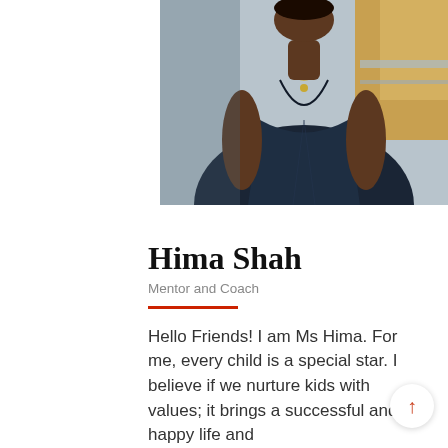[Figure (photo): Photo of Hima Shah wearing a dark navy wrap-style top with a necklace, seated outdoors with blurred autumn foliage in background]
Hima Shah
Mentor and Coach
Hello Friends! I am Ms Hima. For me, every child is a special star. I believe if we nurture kids with values; it brings a successful and happy life and